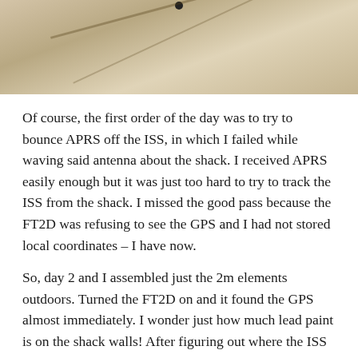[Figure (photo): Cropped photo showing a ground surface with shadows, partial view of an outdoor scene]
Of course, the first order of the day was to try to bounce APRS off the ISS, in which I failed while waving said antenna about the shack. I received APRS easily enough but it was just too hard to try to track the ISS from the shack. I missed the good pass because the FT2D was refusing to see the GPS and I had not stored local coordinates – I have now.
So, day 2 and I assembled just the 2m elements outdoors. Turned the FT2D on and it found the GPS almost immediately. I wonder just how much lead paint is on the shack walls! After figuring out where the ISS was on what was quite a low pass for us I picked it up and, finally got a call in. The following are screenshots